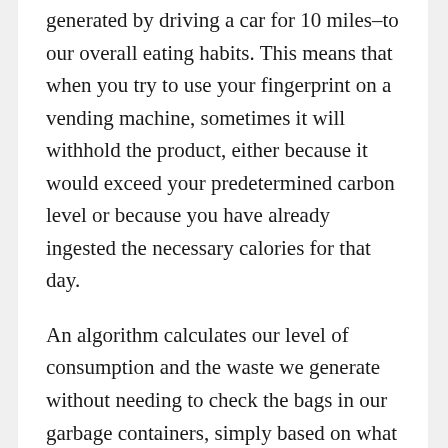generated by driving a car for 10 miles–to our overall eating habits. This means that when you try to use your fingerprint on a vending machine, sometimes it will withhold the product, either because it would exceed your predetermined carbon level or because you have already ingested the necessary calories for that day.
An algorithm calculates our level of consumption and the waste we generate without needing to check the bags in our garbage containers, simply based on what we buy at the supermarket, the number of people in our household, and their consumption and habits. This is then used to impose significant fines when a high level of waste is detected.
We have ended obesity, but we are still analyzing